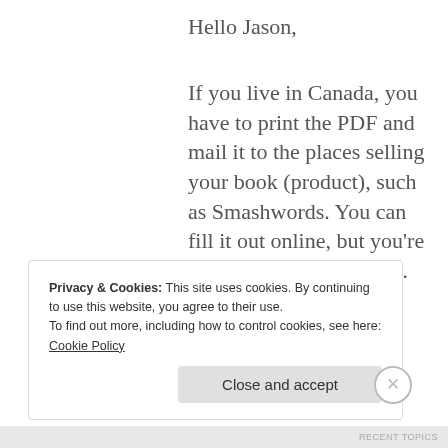Hello Jason,
If you live in Canada, you have to print the PDF and mail it to the places selling your book (product), such as Smashwords. You can fill it out online, but you're not sending it to the IRS.
Thanks for visiting. I hope this helps.
★ Like
Privacy & Cookies: This site uses cookies. By continuing to use this website, you agree to their use. To find out more, including how to control cookies, see here: Cookie Policy
Close and accept